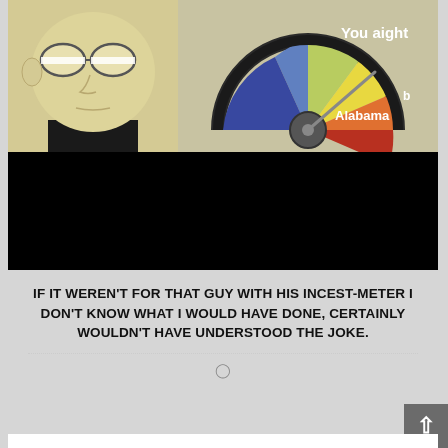[Figure (illustration): Meme image: cartoon character with glasses on left side, and a colorful semicircular dial/meter on right with 'You aight' and 'Alabama' text labels. Bottom half of image is blacked out.]
IF IT WEREN'T FOR THAT GUY WITH HIS INCEST-METER I DON'T KNOW WHAT I WOULD HAVE DONE, CERTAINLY WOULDN'T HAVE UNDERSTOOD THE JOKE.